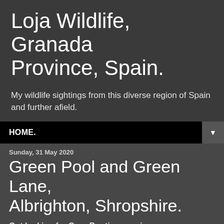Loja Wildlife, Granada Province, Spain.
My wildlife sightings from this diverse region of Spain and further afield.
HOME. ▼
Sunday, 31 May 2020
Green Pool and Green Lane, Albrighton, Shropshire.
Out looking for Corn Buntings again.
I started off again with a look at Green Pool but on the dragon…
[Figure (photo): Dark/black photograph placeholder, partially visible at bottom right of page]